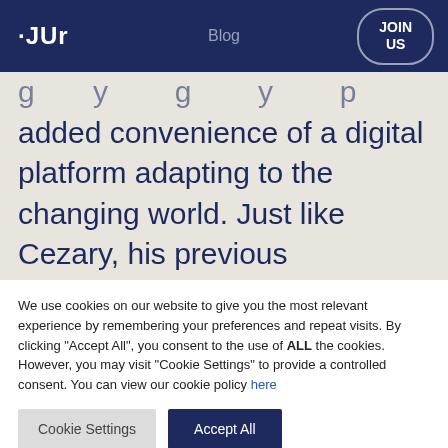JUR | Blog | JOIN US
added convenience of a digital platform adapting to the changing world. Just like Cezary, his previous experiences and education helped him shape every
We use cookies on our website to give you the most relevant experience by remembering your preferences and repeat visits. By clicking “Accept All”, you consent to the use of ALL the cookies. However, you may visit "Cookie Settings" to provide a controlled consent. You can view our cookie policy here